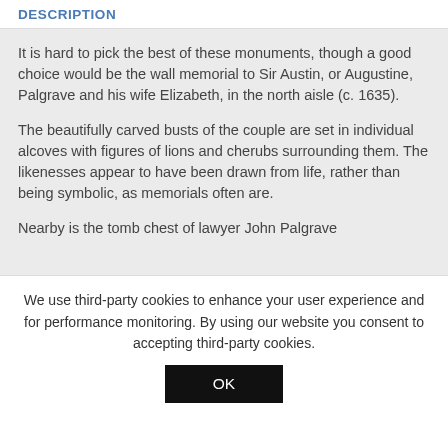DESCRIPTION
It is hard to pick the best of these monuments, though a good choice would be the wall memorial to Sir Austin, or Augustine, Palgrave and his wife Elizabeth, in the north aisle (c. 1635).
The beautifully carved busts of the couple are set in individual alcoves with figures of lions and cherubs surrounding them. The likenesses appear to have been drawn from life, rather than being symbolic, as memorials often are.
Nearby is the tomb chest of lawyer John Palgrave
We use third-party cookies to enhance your user experience and for performance monitoring. By using our website you consent to accepting third-party cookies.
OK